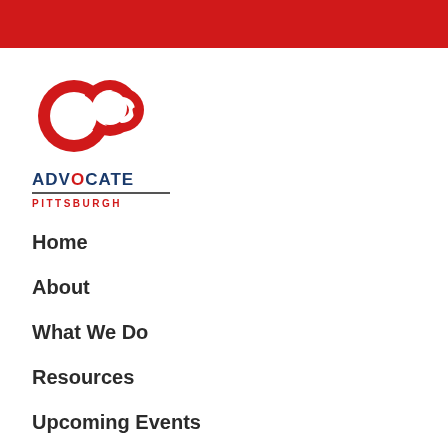[Figure (logo): OCA Advocate Pittsburgh logo with red circular OCA symbol above text reading ADVOCATE PITTSBURGH]
Home
About
What We Do
Resources
Upcoming Events
Membership
Contact